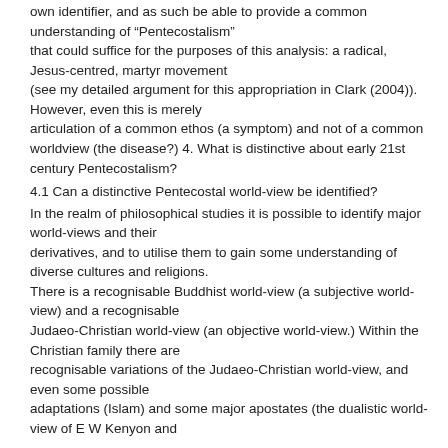own identifier, and as such be able to provide a common understanding of “Pentecostalism” that could suffice for the purposes of this analysis: a radical, Jesus-centred, martyr movement (see my detailed argument for this appropriation in Clark (2004)). However, even this is merely articulation of a common ethos (a symptom) and not of a common worldview (the disease?) 4. What is distinctive about early 21st century Pentecostalism?
4.1 Can a distinctive Pentecostal world-view be identified?
In the realm of philosophical studies it is possible to identify major world-views and their derivatives, and to utilise them to gain some understanding of diverse cultures and religions. There is a recognisable Buddhist world-view (a subjective world-view) and a recognisable Judaeo-Christian world-view (an objective world-view.) Within the Christian family there are recognisable variations of the Judaeo-Christian world-view, and even some possible adaptations (Islam) and some major apostates (the dualistic world-view of E W Kenyon and